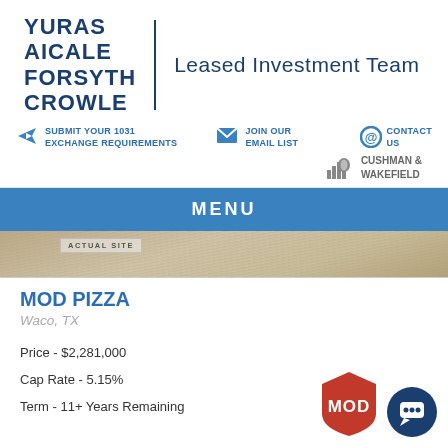[Figure (logo): Yuras Aicale Forsyth Crowle Leased Investment Team logo with Cushman & Wakefield branding]
MENU
[Figure (photo): Actual site photo strip showing sandy/beige ground with 'ACTUAL SITE' badge]
MOD PIZZA
Waco, TX
Price - $2,281,000
Cap Rate - 5.15%
Term - 11+ Years Remaining